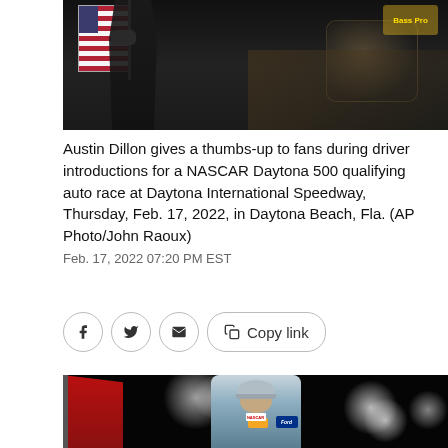[Figure (photo): Top portion of photo showing Austin Dillon giving a thumbs-up to fans with American flag visible during driver introductions at Daytona International Speedway]
Austin Dillon gives a thumbs-up to fans during driver introductions for a NASCAR Daytona 500 qualifying auto race at Daytona International Speedway, Thursday, Feb. 17, 2022, in Daytona Beach, Fla. (AP Photo/John Raoux)
Feb. 17, 2022 07:20 PM EST
[Figure (screenshot): Social share bar with Facebook, Twitter, email, and copy link buttons]
[Figure (photo): NASCAR driver in blue/white racing suit with Ford sponsorship and cap, holding flag at night event with bright lights in background]